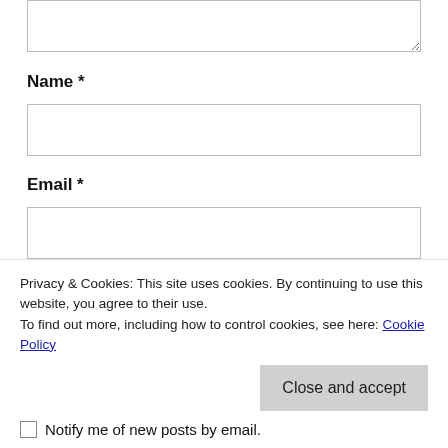[textarea input box]
Name *
[name input field]
Email *
[email input field]
Website
Privacy & Cookies: This site uses cookies. By continuing to use this website, you agree to their use.
To find out more, including how to control cookies, see here: Cookie Policy
Close and accept
Notify me of new posts by email.